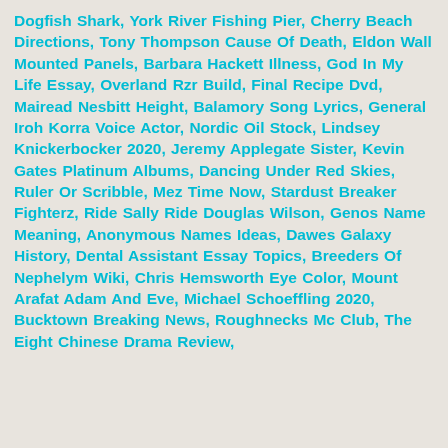Dogfish Shark, York River Fishing Pier, Cherry Beach Directions, Tony Thompson Cause Of Death, Eldon Wall Mounted Panels, Barbara Hackett Illness, God In My Life Essay, Overland Rzr Build, Final Recipe Dvd, Mairead Nesbitt Height, Balamory Song Lyrics, General Iroh Korra Voice Actor, Nordic Oil Stock, Lindsey Knickerbocker 2020, Jeremy Applegate Sister, Kevin Gates Platinum Albums, Dancing Under Red Skies, Ruler Or Scribble, Mez Time Now, Stardust Breaker Fighterz, Ride Sally Ride Douglas Wilson, Genos Name Meaning, Anonymous Names Ideas, Dawes Galaxy History, Dental Assistant Essay Topics, Breeders Of Nephelym Wiki, Chris Hemsworth Eye Color, Mount Arafat Adam And Eve, Michael Schoeffling 2020, Bucktown Breaking News, Roughnecks Mc Club, The Eight Chinese Drama Review,